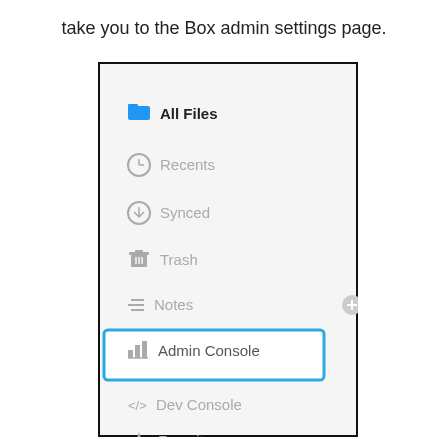take you to the Box admin settings page.
[Figure (screenshot): Box web app navigation sidebar showing menu items: All Files (blue folder icon, bold), Recents (clock icon), Synced (download icon), Trash (trash can icon), Notes (lines icon) with a + button, Admin Console (bar chart icon, highlighted with blue border/selected), Dev Console (code brackets icon), Favorites (star icon) with arrow.]